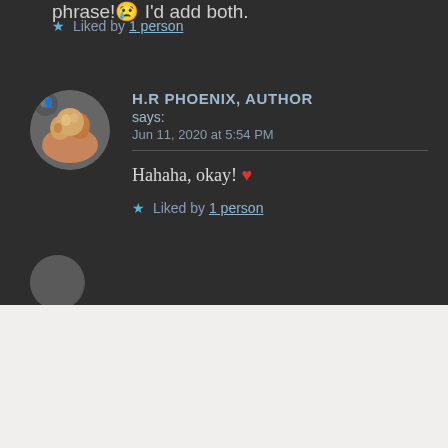phrase!😢 I'd add both.
★ Liked by 1 person
H.R PHOENIX, AUTHOR says: Jun 11, 2020 at 5:54 PM
Hahaha, okay! ❤
★ Liked by 1 person
Advertisements
Build a writing habit. Post on the go.
GET THE APP